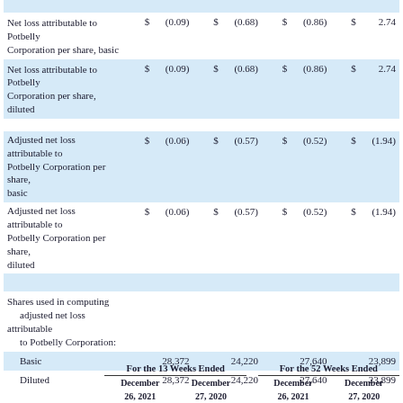|  | $ |  | $ |  | $ |  | $ |  |
| --- | --- | --- | --- | --- | --- | --- | --- | --- |
| Net loss attributable to Potbelly Corporation per share, basic | $ | (0.09) | $ | (0.68) | $ | (0.86) | $ | 2.74 |
| Net loss attributable to Potbelly Corporation per share, diluted | $ | (0.09) | $ | (0.68) | $ | (0.86) | $ | 2.74 |
| Adjusted net loss attributable to Potbelly Corporation per share, basic | $ | (0.06) | $ | (0.57) | $ | (0.52) | $ | (1.94) |
| Adjusted net loss attributable to Potbelly Corporation per share, diluted | $ | (0.06) | $ | (0.57) | $ | (0.52) | $ | (1.94) |
| Shares used in computing adjusted net loss attributable to Potbelly Corporation: |  |  |  |  |  |  |  |  |
| Basic |  | 28,372 |  | 24,220 |  | 27,640 |  | 23,899 |
| Diluted |  | 28,372 |  | 24,220 |  | 27,640 |  | 23,899 |
|  | For the 13 Weeks Ended |  | For the 52 Weeks Ended |  |
| --- | --- | --- | --- | --- |
|  | December | December | December | December |
|  | 26, 2021 | 27, 2020 | 26, 2021 | 27, 2020 |